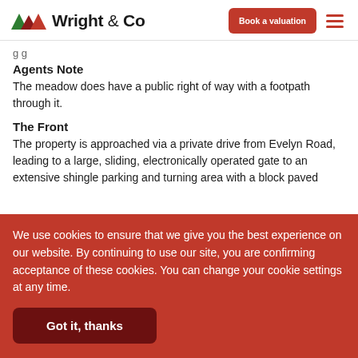Wright & Co — Book a valuation
g g
Agents Note
The meadow does have a public right of way with a footpath through it.
The Front
The property is approached via a private drive from Evelyn Road, leading to a large, sliding, electronically operated gate to an extensive shingle parking and turning area with a block paved
We use cookies to ensure that we give you the best experience on our website. By continuing to use our site, you are confirming acceptance of these cookies. You can change your cookie settings at any time.
Got it, thanks